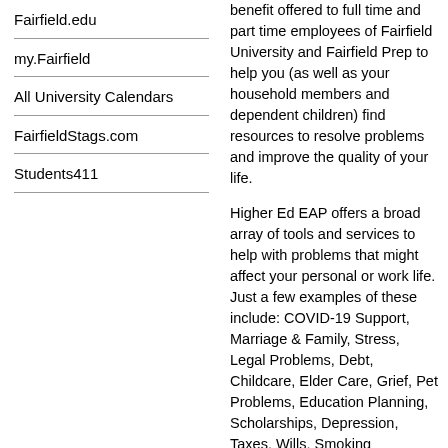Fairfield.edu
my.Fairfield
All University Calendars
FairfieldStags.com
Students411
benefit offered to full time and part time employees of Fairfield University and Fairfield Prep to help you (as well as your household members and dependent children) find resources to resolve problems and improve the quality of your life.
Higher Ed EAP offers a broad array of tools and services to help with problems that might affect your personal or work life. Just a few examples of these include: COVID-19 Support, Marriage & Family, Stress, Legal Problems, Debt, Childcare, Elder Care, Grief, Pet Problems, Education Planning, Scholarships, Depression, Taxes, Wills, Smoking Cessation, Wellness, Adoption, Substance Abuse, Mental Health, and Divorce.
In addition, Higher Ed EAP offers hundreds of personal and professional development opportunities, from trainings to one-on-one telephonic coaching in the following areas: Certified Financial Coaching, Balancing Life at Work & Home, Resilience, Effective Communication, Home Purchasing, Student Debt, Yoga & Meditation, Workplace Conflict, and Retirement
A brief online Employee Orientation Video has